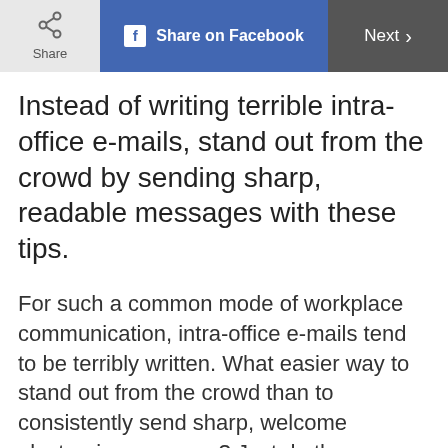Share | Share on Facebook | Next >
Instead of writing terrible intra-office e-mails, stand out from the crowd by sending sharp, readable messages with these tips.
For such a common mode of workplace communication, intra-office e-mails tend to be terribly written. What easier way to stand out from the crowd than to consistently send sharp, welcome electronic messages? Just do the following.